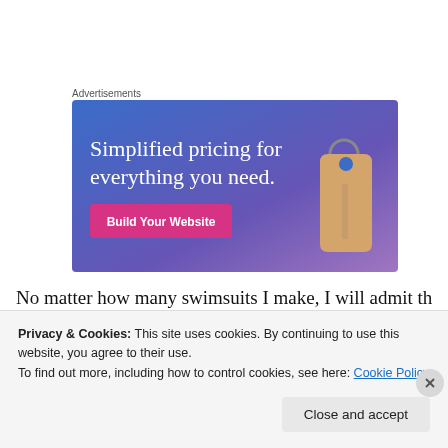Advertisements
[Figure (illustration): Advertisement banner with blue-to-purple gradient background, large white serif text reading 'Simplified pricing for everything you need.', a pink 'Build Your Website' button, and a decorative price tag image on the right.]
No matter how many swimsuits I make, I will admit that I
Privacy & Cookies: This site uses cookies. By continuing to use this website, you agree to their use.
To find out more, including how to control cookies, see here: Cookie Policy
Close and accept